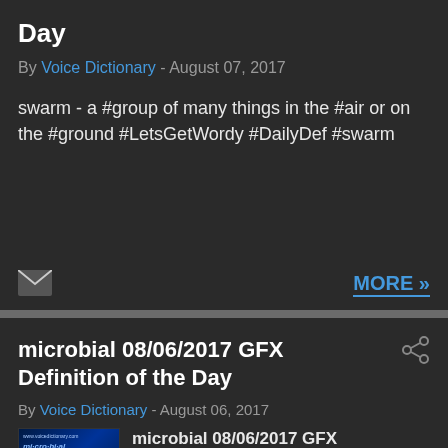Day
By Voice Dictionary - August 07, 2017
swarm - a #group of many things in the #air or on the #ground #LetsGetWordy #DailyDef #swarm
MORE »
microbial 08/06/2017 GFX Definition of the Day
By Voice Dictionary - August 06, 2017
[Figure (other): Thumbnail image for microbial definition card with blue background showing the word 'microbial' with phonetic and definition text]
microbial 08/06/2017 GFX Definition of the Day